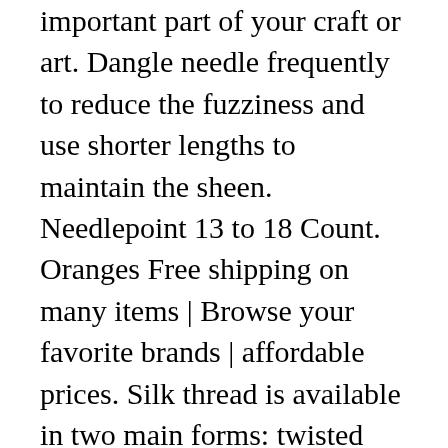important part of your craft or art. Dangle needle frequently to reduce the fuzziness and use shorter lengths to maintain the sheen. Needlepoint 13 to 18 Count. Oranges Free shipping on many items | Browse your favorite brands | affordable prices. Silk thread is available in two main forms: twisted silk (like Pepperpot and Vineyard Silk) and plied silk (like Splendor and Soie d’Alger). This is the perfect yarn for my project. The texture is soft and the shine is a low luster. Contact Us. Trio, Silk & Ivory. The Needlepointer is a full-service shop specializing in hand-